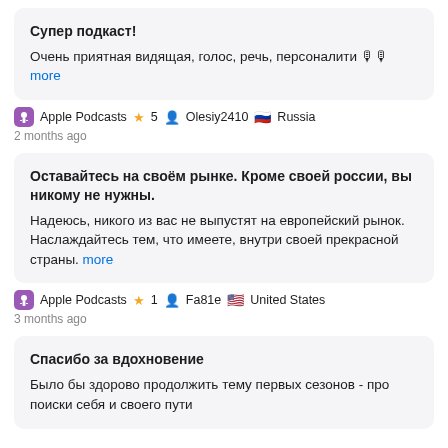Супер подкаст!
Очень приятная видящая, голос, речь, персоналити 🎙🎙 more
Apple Podcasts ★ 5 Olesiy2410 🇷🇺 Russia 2 months ago
Оставайтесь на своём рынке. Кроме своей россии, вы никому не нужны.
Надеюсь, никого из вас не выпустят на европейский рынок. Наслаждайтесь тем, что имеете, внутри своей прекрасной страны. more
Apple Podcasts ★ 1 Fa81e 🇺🇸 United States 3 months ago
Спасибо за вдохновение
Было бы здорово продолжить тему первых сезонов - про поиски себя и своего пути